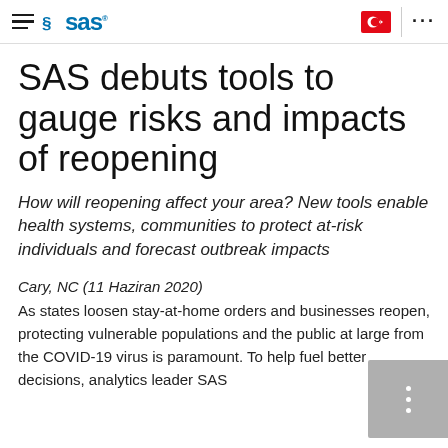SAS (logo) | Turkish flag | menu
SAS debuts tools to gauge risks and impacts of reopening
How will reopening affect your area? New tools enable health systems, communities to protect at-risk individuals and forecast outbreak impacts
Cary, NC (11 Haziran 2020)
As states loosen stay-at-home orders and businesses reopen, protecting vulnerable populations and the public at large from the COVID-19 virus is paramount. To help fuel better decisions, analytics leader SAS debuts tools to provide valuable data prioritization,